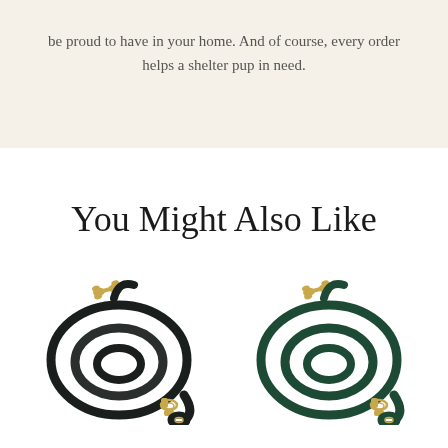be proud to have in your home. And of course, every order helps a shelter pup in need.
You Might Also Like
[Figure (photo): A dark navy/black rope dog leash coiled in a circle with gold-colored bone-shaped hardware and a clip.]
[Figure (photo): A dark green rope dog leash coiled in a circle with gold-colored bone-shaped hardware and a clip.]